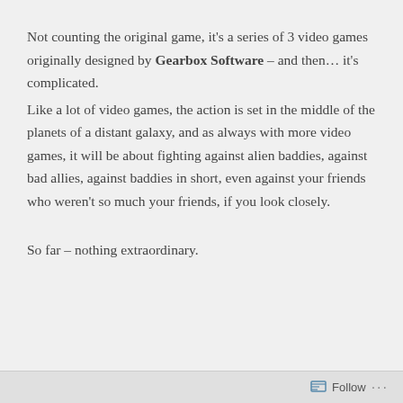Not counting the original game, it's a series of 3 video games originally designed by Gearbox Software – and then… it's complicated.
Like a lot of video games, the action is set in the middle of the planets of a distant galaxy, and as always with more video games, it will be about fighting against alien baddies, against bad allies, against baddies in short, even against your friends who weren't so much your friends, if you look closely.
So far – nothing extraordinary.
Follow